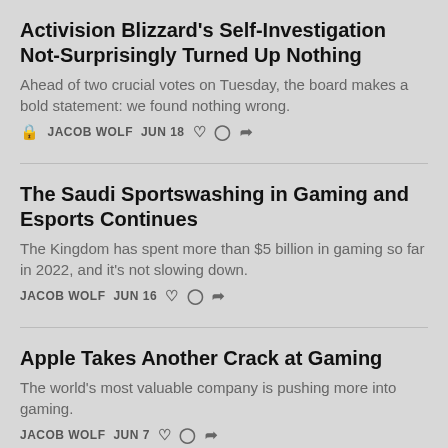Activision Blizzard's Self-Investigation Not-Surprisingly Turned Up Nothing
Ahead of two crucial votes on Tuesday, the board makes a bold statement: we found nothing wrong.
JACOB WOLF  JUN 18
The Saudi Sportswashing in Gaming and Esports Continues
The Kingdom has spent more than $5 billion in gaming so far in 2022, and it's not slowing down.
JACOB WOLF  JUN 16
Apple Takes Another Crack at Gaming
The world's most valuable company is pushing more into gaming.
JACOB WOLF  JUN 7
Microsoft's Recognition of Unions Is a Huge...